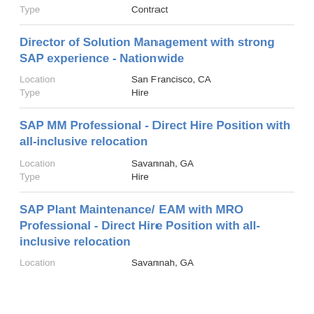Type    Contract
Director of Solution Management with strong SAP experience - Nationwide
Location    San Francisco, CA
Type    Hire
SAP MM Professional - Direct Hire Position with all-inclusive relocation
Location    Savannah, GA
Type    Hire
SAP Plant Maintenance/ EAM with MRO Professional - Direct Hire Position with all-inclusive relocation
Location    Savannah, GA